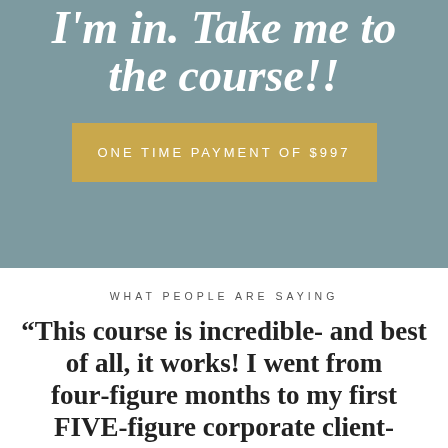I'm in. Take me to the course!!
ONE TIME PAYMENT OF $997
WHAT PEOPLE ARE SAYING
“This course is incredible- and best of all, it works! I went from four-figure months to my first FIVE-figure corporate client-